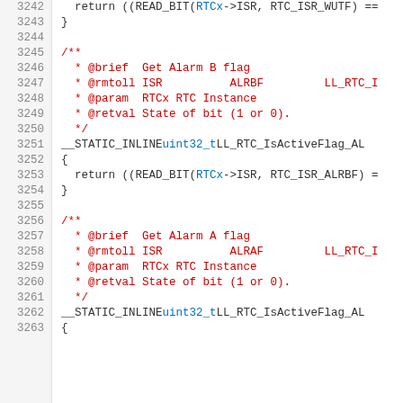[Figure (screenshot): Source code listing showing C function definitions for RTC (Real-Time Clock) embedded firmware. Lines 3242-3263 showing __STATIC_INLINE functions LL_RTC_IsActiveFlag_AL returning READ_BIT values, with Doxygen-style comments including @brief, @rmtoll, @param, and @retval tags.]